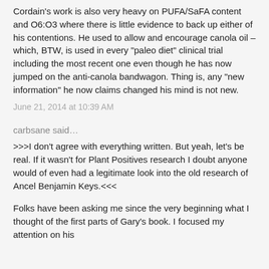Cordain's work is also very heavy on PUFA/SaFA content and O6:O3 where there is little evidence to back up either of his contentions. He used to allow and encourage canola oil – which, BTW, is used in every "paleo diet" clinical trial including the most recent one even though he has now jumped on the anti-canola bandwagon. Thing is, any "new information" he now claims changed his mind is not new.
June 21, 2014 at 10:39 AM
carbsane said…
>>>I don't agree with everything written. But yeah, let's be real. If it wasn't for Plant Positives research I doubt anyone would of even had a legitimate look into the old research of Ancel Benjamin Keys.<<<
Folks have been asking me since the very beginning what I thought of the first parts of Gary's book. I focused my attention on his